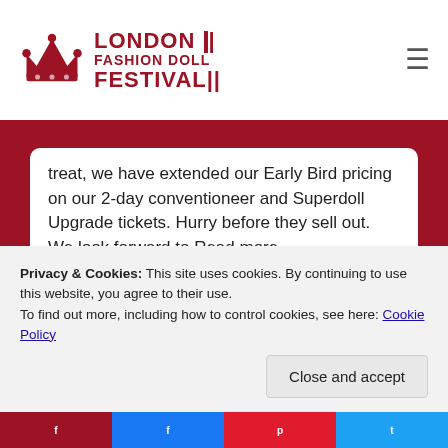London Fashion Doll Festival
treat, we have extended our Early Bird pricing on our 2-day conventioneer and Superdoll Upgrade tickets. Hurry before they sell out. We look forward to Read more...
Privacy & Cookies: This site uses cookies. By continuing to use this website, you agree to their use.
To find out more, including how to control cookies, see here: Cookie Policy
Close and accept